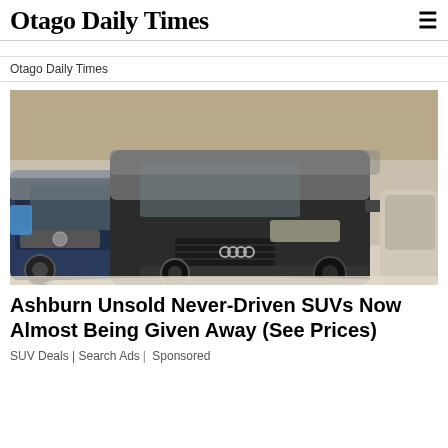Otago Daily Times
Otago Daily Times
[Figure (photo): Several dusty/dirty unsold SUVs and luxury cars parked closely together in an indoor lot or warehouse, including an Audi Q7 in the foreground and a BMW X5 to the left]
Ashburn Unsold Never-Driven SUVs Now Almost Being Given Away (See Prices)
SUV Deals | Search Ads | Sponsored